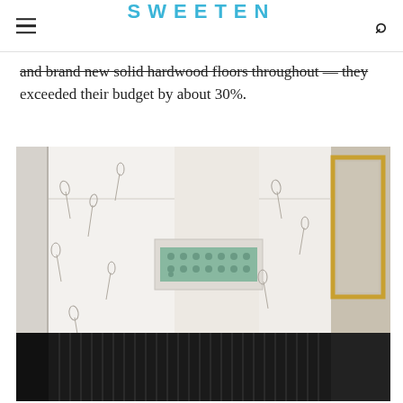SWEETEN
and brand new solid hardwood floors throughout — they exceeded their budget by about 30%.
[Figure (photo): Interior photo of a renovated bathroom with floral wallpaper, dark wainscoting, a small window or vent niche on the wall, and a gold-framed mirror visible on the right side.]